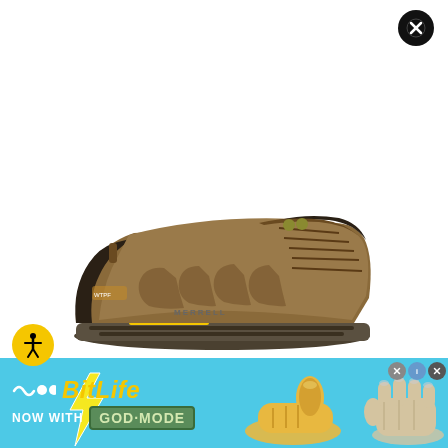[Figure (photo): Close-up side view of a brown Merrell mid-height waterproof hiking boot with dark rubber sole, lace-up design, and suede/mesh upper, displayed against a white background.]
[Figure (screenshot): Mobile advertisement banner for BitLife game, featuring yellow 'BitLife' logo text, circular wave icon, 'NOW WITH GOD MODE' text in green badge, on a sky-blue background with cartoon pointing hand graphics and small close/info buttons.]